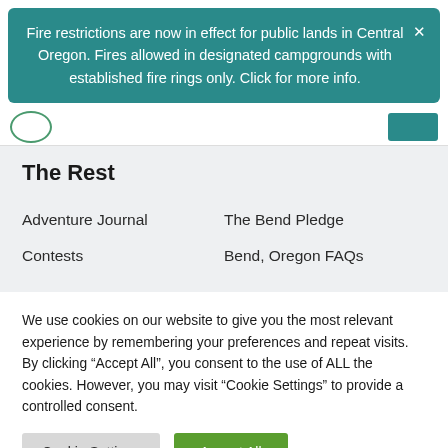Fire restrictions are now in effect for public lands in Central Oregon. Fires allowed in designated campgrounds with established fire rings only. Click for more info.
The Rest
Adventure Journal
The Bend Pledge
Contests
Bend, Oregon FAQs
We use cookies on our website to give you the most relevant experience by remembering your preferences and repeat visits. By clicking “Accept All”, you consent to the use of ALL the cookies. However, you may visit “Cookie Settings” to provide a controlled consent.